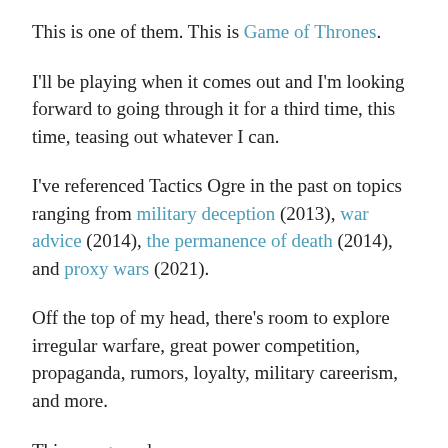This is one of them. This is Game of Thrones.
I'll be playing when it comes out and I'm looking forward to going through it for a third time, this time, teasing out whatever I can.
I've referenced Tactics Ogre in the past on topics ranging from military deception (2013), war advice (2014), the permanence of death (2014), and proxy wars (2021).
Off the top of my head, there's room to explore irregular warfare, great power competition, propaganda, rumors, loyalty, military careerism, and more.
This one goes deep.